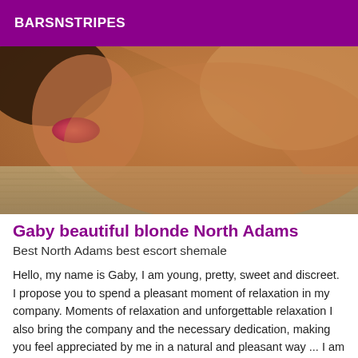BARSNSTRIPES
[Figure (photo): Close-up photo of a person, partially cropped, with warm skin tones and what appears to be a textured fabric/rug in the lower portion.]
Gaby beautiful blonde North Adams
Best North Adams best escort shemale
Hello, my name is Gaby, I am young, pretty, sweet and discreet. I propose you to spend a pleasant moment of relaxation in my company. Moments of relaxation and unforgettable relaxation I also bring the company and the necessary dedication, making you feel appreciated by me in a natural and pleasant way ... I am here for you to meet your needs. I will be at your service to meet your